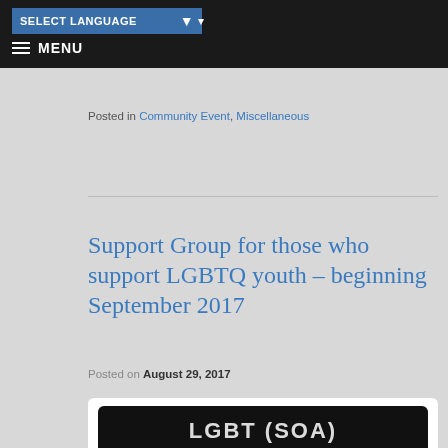SELECT LANGUAGE  MENU
Posted in Community Event, Miscellaneous
Support Group for those who support LGBTQ youth – beginning September 2017
Posted on August 29, 2017
[Figure (photo): Black background image with white bold text partially visible, showing what appears to be 'LGBT (SOA)' or similar text at the bottom of a dark promotional image.]